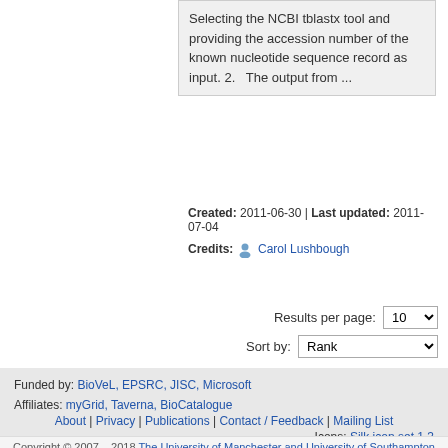Selecting the NCBI tblastx tool and providing the accession number of the known nucleotide sequence record as input. 2.   The output from ...
Created: 2011-06-30 | Last updated: 2011-07-04
Credits: Carol Lushbough
Results per page: 10
Sort by: Rank
Funded by: BioVeL, EPSRC, JISC, Microsoft
Affiliates: myGrid, Taverna, BioCatalogue
About | Privacy | Publications | Contact / Feedback | Mailing List
Icons: Silk icon set 1.3
Copyright © 2007 – 2018 The University of Manchester and University of Southampton